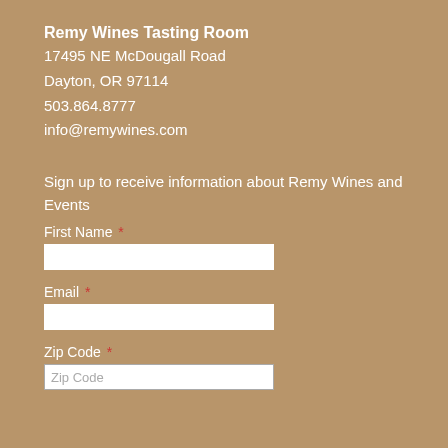Remy Wines Tasting Room
17495 NE McDougall Road
Dayton, OR 97114
503.864.8777
info@remywines.com
Sign up to receive information about Remy Wines and Events
First Name *
Email *
Zip Code *